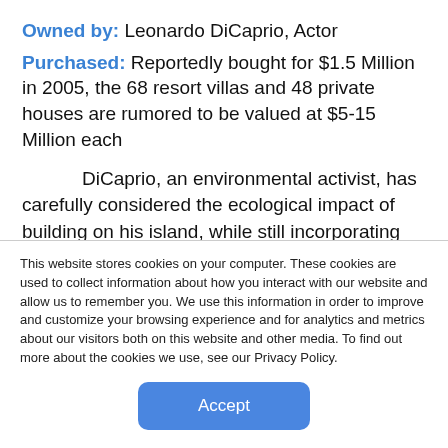Owned by: Leonardo DiCaprio, Actor
Purchased: Reportedly bought for $1.5 Million in 2005, the 68 resort villas and 48 private houses are rumored to be valued at $5-15 Million each
DiCaprio, an environmental activist, has carefully considered the ecological impact of building on his island, while still incorporating the luxurious qualities you would expect from one of the biggest stars in Hollywood. In fact, the entire development is being designed to meet the
This website stores cookies on your computer. These cookies are used to collect information about how you interact with our website and allow us to remember you. We use this information in order to improve and customize your browsing experience and for analytics and metrics about our visitors both on this website and other media. To find out more about the cookies we use, see our Privacy Policy.